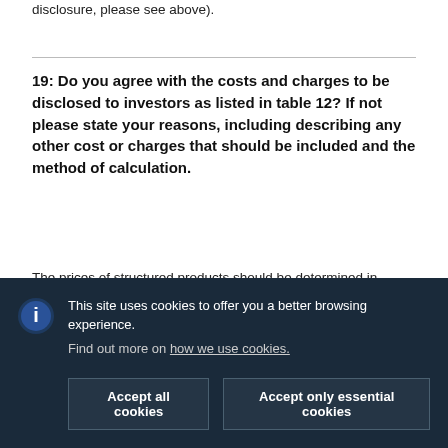disclosure, please see above).
19: Do you agree with the costs and charges to be disclosed to investors as listed in table 12? If not please state your reasons, including describing any other cost or charges that should be included and the method of calculation.
The prices of structured products should be determined in among the issuers using the criteria of modern financial markets theory and be based on a number of different factors of influence. For instance, the DDV members state the issuer estimated value (IEV) of the investment product in the relevant product information sheet. The difference between the issue price of the product plus a front-end load fee, where applicable, and the IEV should include the expected issuer
This site uses cookies to offer you a better browsing experience.
Find out more on how we use cookies.
Accept all cookies
Accept only essential cookies